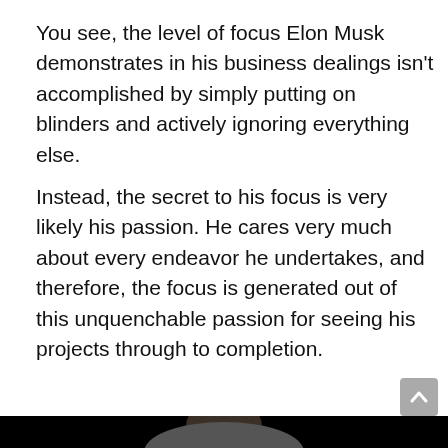You see, the level of focus Elon Musk demonstrates in his business dealings isn't accomplished by simply putting on blinders and actively ignoring everything else.
Instead, the secret to his focus is very likely his passion. He cares very much about every endeavor he undertakes, and therefore, the focus is generated out of this unquenchable passion for seeing his projects through to completion.
[Figure (photo): Photo of Elon Musk speaking against a dark/black background, wearing a grey suit jacket, gesturing with his right hand.]